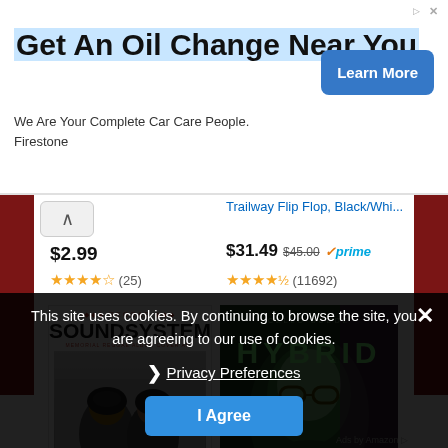[Figure (screenshot): Advertisement banner: Get An Oil Change Near You - Firestone, with Learn More button]
Get An Oil Change Near You
We Are Your Complete Car Care People.
Firestone
Trailway Flip Flop, Black/Whi...
$2.99
★★★★☆ (25)
$31.49  $45.00  ✓prime
★★★★½ (11692)
[Figure (photo): Reggae Soundsystem album cover art - showing two children and text SOUNDSYSTEM]
[Figure (photo): Hybrid album cover - green tinted image with person wearing sunglasses]
Reggae... Reggae Album Cover...
$49.95 ✓prime
★★☆☆☆ (17)
$3.99
★★★★☆ (22)
This site uses cookies. By continuing to browse the site, you are agreeing to our use of cookies.
❯ Privacy Preferences
I Agree
Ads by Amazon